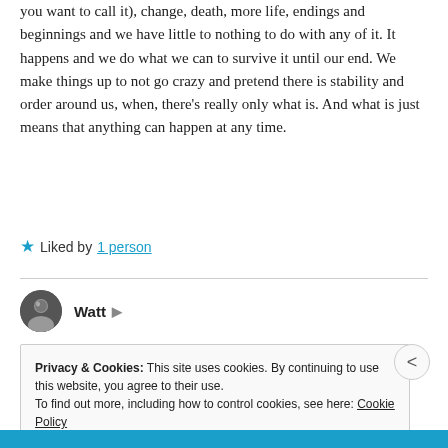you want to call it), change, death, more life, endings and beginnings and we have little to nothing to do with any of it. It happens and we do what we can to survive it until our end. We make things up to not go crazy and pretend there is stability and order around us, when, there's really only what is. And what is just means that anything can happen at any time.
★ Liked by 1 person
Watt
June 27, 2019 at 4:24 pm
Privacy & Cookies: This site uses cookies. By continuing to use this website, you agree to their use.
To find out more, including how to control cookies, see here: Cookie Policy
Close and accept